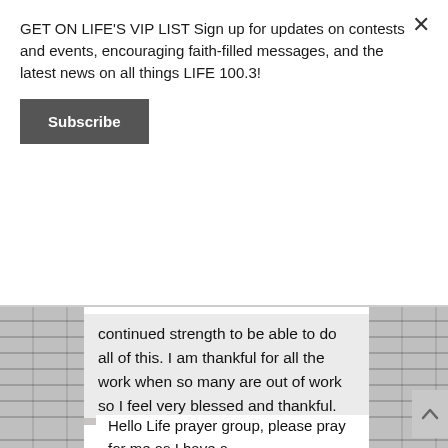GET ON LIFE'S VIP LIST Sign up for updates on contests and events, encouraging faith-filled messages, and the latest news on all things LIFE 100.3!
Subscribe
continued strength to be able to do all of this. I am thankful for all the work when so many are out of work so I feel very blessed and thankful.
Posted on February 25th, 2021
Anonymous
I PRAYED FOR THIS!
Prayed for 5 times.
Hello Life prayer group, please pray for me as I have a